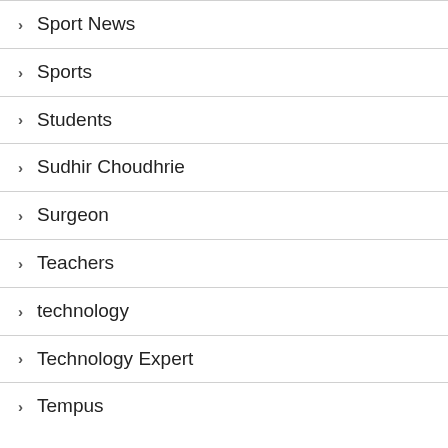Sport News
Sports
Students
Sudhir Choudhrie
Surgeon
Teachers
technology
Technology Expert
Tempus